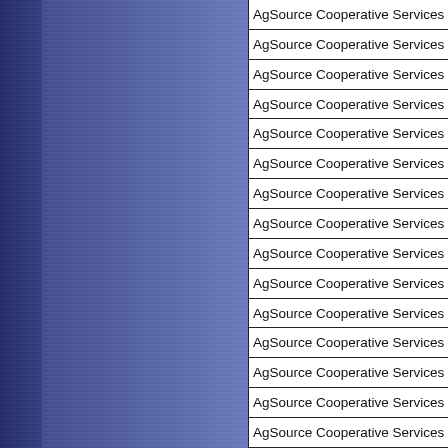AgSource Cooperative Services
AgSource Cooperative Services
AgSource Cooperative Services
AgSource Cooperative Services
AgSource Cooperative Services
AgSource Cooperative Services
AgSource Cooperative Services
AgSource Cooperative Services
AgSource Cooperative Services
AgSource Cooperative Services
AgSource Cooperative Services
AgSource Cooperative Services
AgSource Cooperative Services
AgSource Cooperative Services
AgSource Cooperative Services